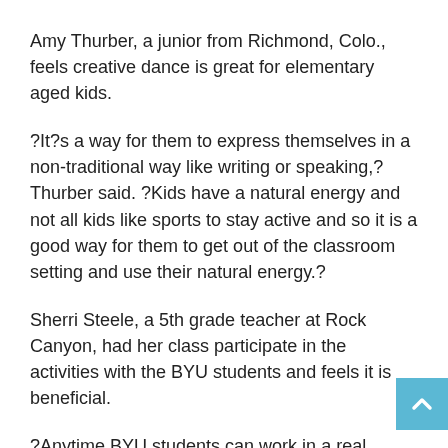Amy Thurber, a junior from Richmond, Colo., feels creative dance is great for elementary aged kids.
?It?s a way for them to express themselves in a non-traditional way like writing or speaking,? Thurber said. ?Kids have a natural energy and not all kids like sports to stay active and so it is a good way for them to get out of the classroom setting and use their natural energy.?
Sherri Steele, a 5th grade teacher at Rock Canyon, had her class participate in the activities with the BYU students and feels it is beneficial.
?Anytime BYU students can work in a real classroom environment will help them,? Steele said. ?I feel that any sort of activity is beneficial to the elementary students.?